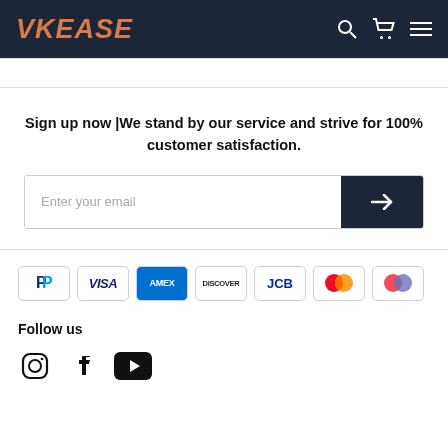VKEASE
Sign up now | We stand by our service and strive for 100% customer satisfaction.
[Figure (screenshot): Email signup input field with dark arrow submit button]
[Figure (infographic): Payment method logos: PayPal, Visa, American Express, Discover, JCB, Mastercard, Maestro]
Follow us
[Figure (infographic): Social media icons: Instagram, Facebook, YouTube]